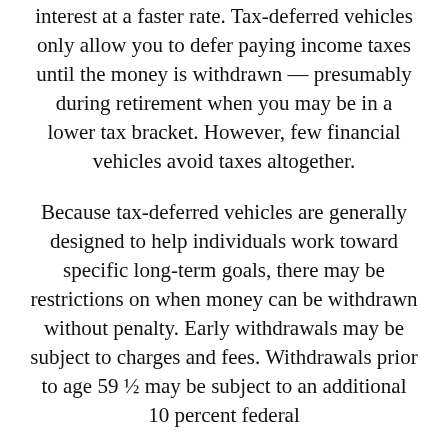interest at a faster rate. Tax-deferred vehicles only allow you to defer paying income taxes until the money is withdrawn — presumably during retirement when you may be in a lower tax bracket. However, few financial vehicles avoid taxes altogether.
Because tax-deferred vehicles are generally designed to help individuals work toward specific long-term goals, there may be restrictions on when money can be withdrawn without penalty. Early withdrawals may be subject to charges and fees. Withdrawals prior to age 59 ½ may be subject to an additional 10 percent federal